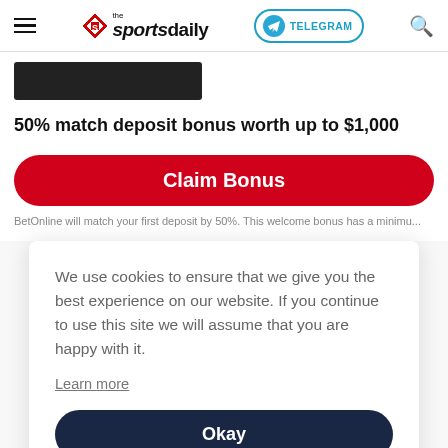the sportsdaily — TELEGRAM — Search
[Figure (screenshot): Dark rectangular image placeholder in top-left of content area]
50% match deposit bonus worth up to $1,000
Claim Bonus
BetOnline will match your first deposit by 50%. This welcome bonus has a minimu...
We use cookies to ensure that we give you the best experience on our website. If you continue to use this site we will assume that you are happy with it.
Learn more
Okay